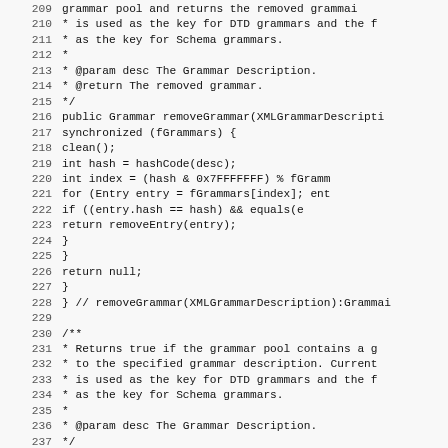[Figure (screenshot): Source code listing in monospace font showing Java code for a grammar pool class, lines 209-239, with line numbers on the left and code on the right. Code includes Javadoc comments, removeGrammar and containsGrammar method implementations.]